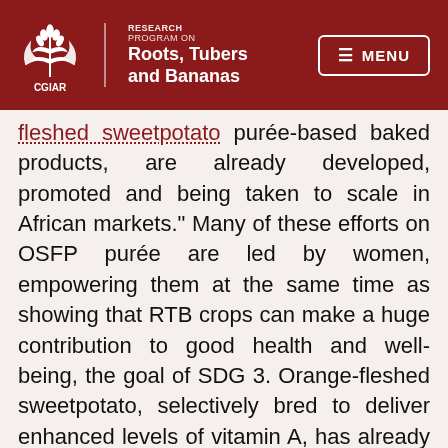CGIAR Research Program on Roots, Tubers and Bananas | MENU
fleshed sweetpotato purée-based baked products, are already developed, promoted and being taken to scale in African markets." Many of these efforts on OSFP purée are led by women, empowering them at the same time as showing that RTB crops can make a huge contribution to good health and well-being, the goal of SDG 3. Orange-fleshed sweetpotato, selectively bred to deliver enhanced levels of vitamin A, has already reached 6.2 million households across 15 countries in sub-Saharan Africa. This is just a start. There are now cassava and banana varieties high in vitamin A, and potatoes have been bred with significantly higher levels of iron and zinc. These efforts need to increase and be scaled up.